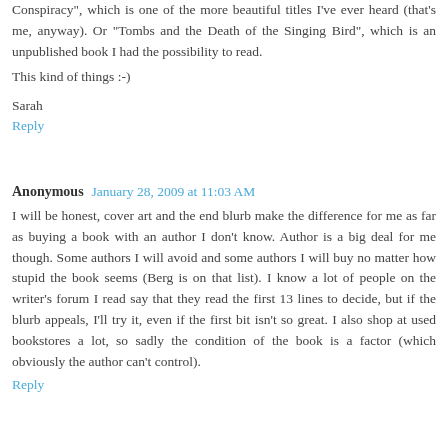Conspiracy", which is one of the more beautiful titles I've ever heard (that's me, anyway). Or "Tombs and the Death of the Singing Bird", which is an unpublished book I had the possibility to read.
This kind of things :-)
Sarah
Reply
Anonymous  January 28, 2009 at 11:03 AM
I will be honest, cover art and the end blurb make the difference for me as far as buying a book with an author I don't know. Author is a big deal for me though. Some authors I will avoid and some authors I will buy no matter how stupid the book seems (Berg is on that list). I know a lot of people on the writer's forum I read say that they read the first 13 lines to decide, but if the blurb appeals, I'll try it, even if the first bit isn't so great. I also shop at used bookstores a lot, so sadly the condition of the book is a factor (which obviously the author can't control).
Reply